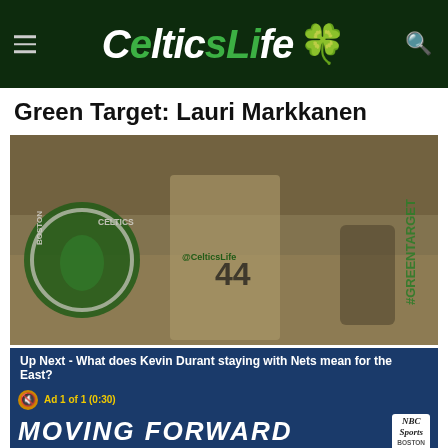CelticsLife
Green Target: Lauri Markkanen
[Figure (photo): Basketball player wearing number 44 jersey with @CelticsLife text, with Boston Celtics logo overlaid on the left and #GreenTarget text on the right, sepia-toned image]
Up Next - What does Kevin Durant staying with Nets mean for the East?
Ad 1 of 1 (0:30)
[Figure (screenshot): Video player showing 'MOVING FORWARD' text with NBC Sports Boston logo in bottom right, mute button visible]